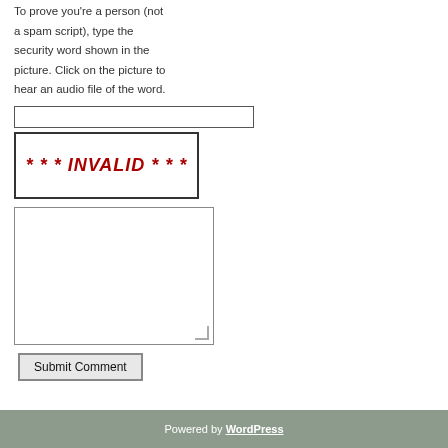To prove you're a person (not a spam script), type the security word shown in the picture. Click on the picture to hear an audio file of the word.
[Figure (screenshot): CAPTCHA image with text: * * * INVALID * * *]
[Figure (screenshot): Text input field for CAPTCHA entry]
[Figure (screenshot): Textarea comment box]
Submit Comment
Powered by WordPress